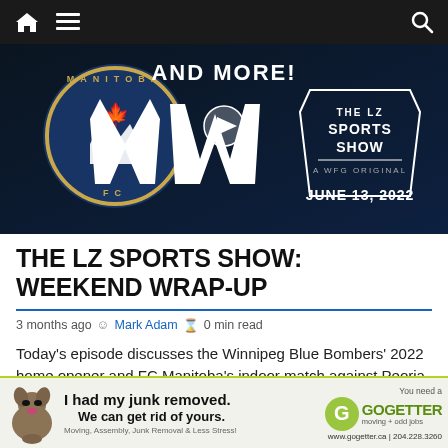Navigation bar with home, menu, and search icons
[Figure (screenshot): Video thumbnail showing FC Manitoba and Winnipeg Blue Bombers logos with text 'AND MORE!' and 'THE LZ SPORTS SHOW — A WFG ORIGINAL — JUNE 13, 2022' on dark background with play button]
THE LZ SPORTS SHOW: WEEKEND WRAP-UP
3 months ago  Mark Adam  0 min read
Today's episode discusses the Winnipeg Blue Bombers' 2022 home opener and FC Manitoba's indoor match against Peoria City.
[Figure (infographic): Advertisement banner: 'I had my junk removed. We can get rid of yours.' GoGetter moving + odd jobs. Moving, Assembly, Junk Removal & Less Stress! www.gogetter.ca | 204.228.3260]